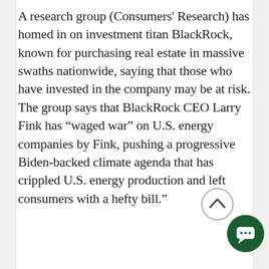A research group (Consumers' Research) has homed in on investment titan BlackRock, known for purchasing real estate in massive swaths nationwide, saying that those who have invested in the company may be at risk. The group says that BlackRock CEO Larry Fink has “waged war” on U.S. energy companies by Fink, pushing a progressive Biden-backed climate agenda that has crippled U.S. energy production and left consumers with a hefty bill.”
Cheney’s Humiliating Defeat Is Another Sign That We Are Winn...
Kurt Schlichter, Townhall
The Cheneys, and the rest of the